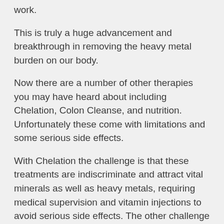work.
This is truly a huge advancement and breakthrough in removing the heavy metal burden on our body.
Now there are a number of other therapies you may have heard about including Chelation, Colon Cleanse, and nutrition. Unfortunately these come with limitations and some serious side effects.
With Chelation the challenge is that these treatments are indiscriminate and attract vital minerals as well as heavy metals, requiring medical supervision and vitamin injections to avoid serious side effects. The other challenge is that the toxins are attached to the outside of the chelating agent, meaning they can do damage to the kidney or liver during elimination. This is something you really don't want to do unless it is absolutely